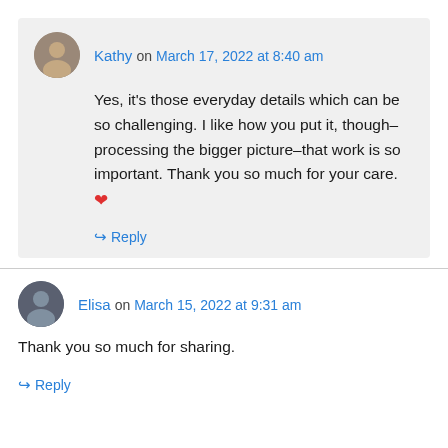Kathy on March 17, 2022 at 8:40 am
Yes, it’s those everyday details which can be so challenging. I like how you put it, though–processing the bigger picture–that work is so important. Thank you so much for your care. ❤
↳ Reply
Elisa on March 15, 2022 at 9:31 am
Thank you so much for sharing.
↳ Reply